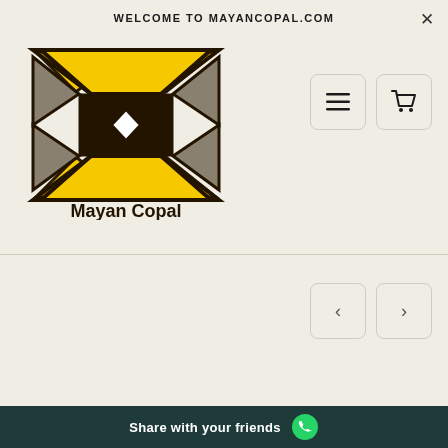WELCOME TO MAYANCOPAL.COM
[Figure (logo): Mayan Copal logo: geometric diamond/arrow pattern in yellow, dark brown, and grey with the text 'Mayan Copal' below]
[Figure (screenshot): Navigation buttons: hamburger menu icon and shopping cart icon in rounded square buttons]
[Figure (screenshot): Slider navigation arrows: left chevron and right chevron in rounded square buttons]
Share with your friends